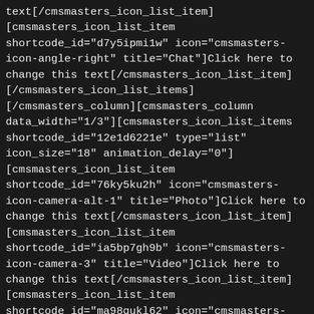text[/cmsmasters_icon_list_item][cmsmasters_icon_list_item shortcode_id="d7y5ipmi1w" icon="cmsmasters-icon-angle-right" title="Chat"]Click here to change this text[/cmsmasters_icon_list_item][/cmsmasters_icon_list_items][/cmsmasters_column][cmsmasters_column data_width="1/3"][cmsmasters_icon_list_items shortcode_id="12e1d6221e" type="list" icon_size="18" animation_delay="0"][cmsmasters_icon_list_item shortcode_id="76ky5ku2h" icon="cmsmasters-icon-camera-alt-1" title="Photo"]Click here to change this text[/cmsmasters_icon_list_item][cmsmasters_icon_list_item shortcode_id="ia5bp7gh9b" icon="cmsmasters-icon-camera-3" title="Video"]Click here to change this text[/cmsmasters_icon_list_item][cmsmasters_icon_list_item shortcode_id="ma98qukl62" icon="cmsmasters-icon-envelope-letter" title="Message"]Click here to change this text[/cmsmasters_icon_list_item][cmsmasters_icon_list_item shortcode_id="s0i2rtqf5" icon="cmsmasters-icon-user-3" title="User"]Click here to change